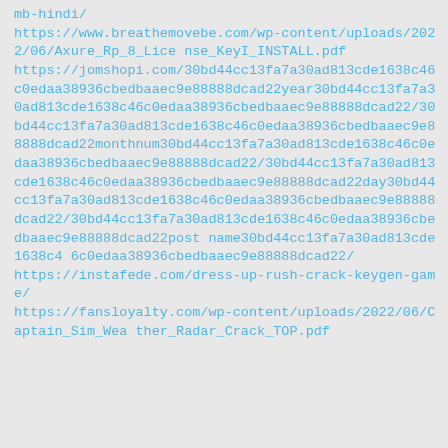mb-hindi/
https://www.breathemovebe.com/wp-content/uploads/2022/06/Axure_Rp_8_License_KeyI_INSTALL.pdf
https://jomshopi.com/30bd44cc13fa7a30ad813cde1638c46c0edaa38936cbedbaaec9e88888dcad22year30bd44cc13fa7a30ad813cde1638c46c0edaa38936cbedbaaec9e88888dcad22/30bd44cc13fa7a30ad813cde1638c46c0edaa38936cbedbaaec9e88888dcad22monthnum30bd44cc13fa7a30ad813cde1638c46c0edaa38936cbedbaaec9e88888dcad22/30bd44cc13fa7a30ad813cde1638c46c0edaa38936cbedbaaec9e88888dcad22day30bd44cc13fa7a30ad813cde1638c46c0edaa38936cbedbaaec9e88888dcad22/30bd44cc13fa7a30ad813cde1638c46c0edaa38936cbedbaaec9e88888dcad22postname30bd44cc13fa7a30ad813cde1638c4 6c0edaa38936cbedbaaec9e88888dcad22/
https://instafede.com/dress-up-rush-crack-keygen-game/
https://fansloyalty.com/wp-content/uploads/2022/06/Captain_Sim_Weather_Radar_Crack_TOP.pdf